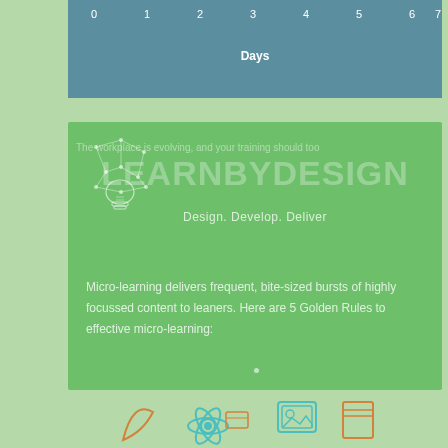[Figure (continuous-plot): Top portion of a horizontal bar chart with teal/blue background showing axis numbers 0,1,2,3,4,5,6,7 and label 'Days']
[Figure (infographic): Green card with LearnByDesign logo (lightbulb network icon + LEARNBYDESIGN title text watermark), subtitle 'Design. Develop. Deliver', and body text about micro-learning]
The workplace is evolving, and your training should too
LEARNBYDESIGN
Design. Develop. Deliver
Micro-learning delivers frequent, bite-sized bursts of highly focussed content to leaners. Here are 5 Golden Rules to effective micro-learning:
[Figure (illustration): Teal and orange colored icons at the bottom: atom/science icon, image/photo icon, and partial view of other icons]